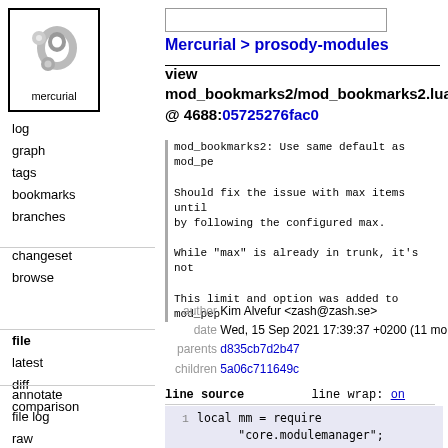[Figure (logo): Mercurial logo: grey swirl/comma shapes with text 'mercurial' below, inside a square border]
log
graph
tags
bookmarks
branches
changeset
browse
file
latest
diff
comparison
annotate
file log
raw
Mercurial > prosody-modules
view mod_bookmarks2/mod_bookmarks2.lua @ 4688:05725276fac0
mod_bookmarks2: Use same default as mod_pe
Should fix the issue with max items until
by following the configured max.

While "max" is already in trunk, it's not

This limit and option was added to mod_pep
author Kim Alvefur <zash@zash.se>
date Wed, 15 Sep 2021 17:39:37 +0200 (11 mo
parents d835cb7d2b47
children 5a06c711649c
line source    line wrap: on
1    local mm = require
          "core.modulemanager";